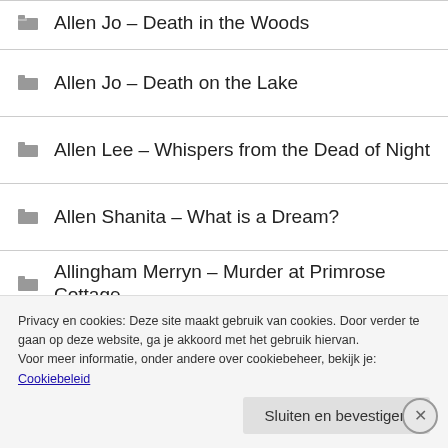Allen Jo – Death in the Woods
Allen Jo – Death on the Lake
Allen Lee – Whispers from the Dead of Night
Allen Shanita – What is a Dream?
Allingham Merryn – Murder at Primrose Cottage
Allingham Merryn – Murder at the Priory Hotel
Alliott Catherine – Behind Closed Doors
Privacy en cookies: Deze site maakt gebruik van cookies. Door verder te gaan op deze website, ga je akkoord met het gebruik hiervan.
Voor meer informatie, onder andere over cookiebeheer, bekijk je:
Cookiebeleid
Sluiten en bevestigen